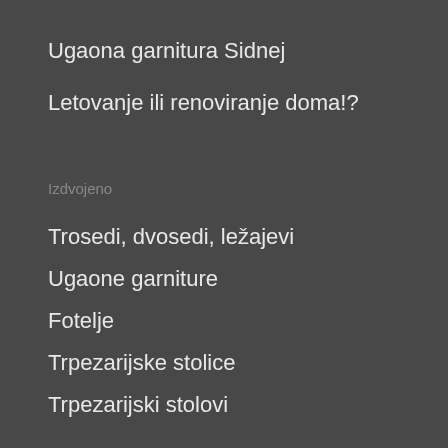Ugaona garnitura Sidnej
Letovanje ili renoviranje doma!?
Izdvojeno
Trosedi, dvosedi, ležajevi
Ugaone garniture
Fotelje
Trpezarijske stolice
Trpezarijski stolovi
Napomena
Cene na web stranici su informativnog karaktera i sklone su promenama